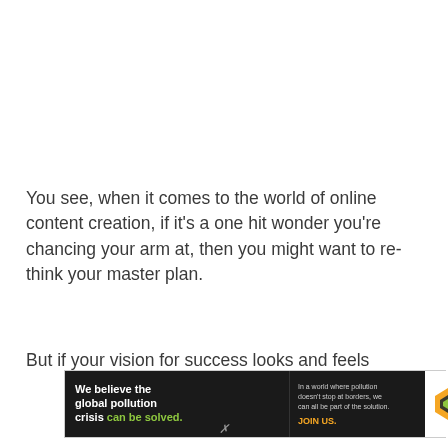You see, when it comes to the world of online content creation, if it's a one hit wonder you're chancing your arm at, then you might want to re-think your master plan.
But if your vision for success looks and feels
[Figure (infographic): Pure Earth advertisement banner: black background with white bold text 'We believe the global pollution crisis can be solved.' with 'can be solved.' in green. Middle section has small white text 'In a world where pollution doesn't stop at borders, we can all be part of the solution.' and 'JOIN US.' in orange. Right section has white background with Pure Earth diamond logo in orange/green and PURE EARTH text in bold black.]